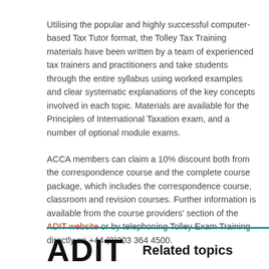Utilising the popular and highly successful computer-based Tax Tutor format, the Tolley Tax Training materials have been written by a team of experienced tax trainers and practitioners and take students through the entire syllabus using worked examples and clear systematic explanations of the key concepts involved in each topic. Materials are available for the Principles of International Taxation exam, and a number of optional module exams.
ACCA members can claim a 10% discount both from the correspondence course and the complete course package, which includes the correspondence course, classroom and revision courses. Further information is available from the course providers' section of the ADIT website or by telephoning Tolley Exam Training directly on +44 (0)203 364 4500.
[Figure (logo): ADIT logo in bold black text with teal horizontal line above, alongside 'Related topics' heading]